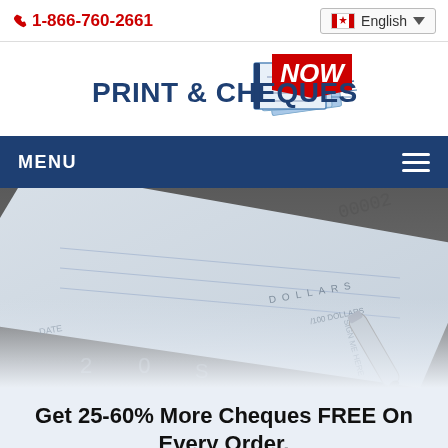1-866-760-2661 | English
[Figure (logo): Print & Cheques Now logo with stylized paper/cheque graphic and bold text]
MENU
[Figure (photo): Close-up photo of a cheque numbered 00002 with a pen, showing fields for date, dollars, and signature]
Get 25-60% More Cheques FREE On Every Order.
Three cheque types to simplify your life.